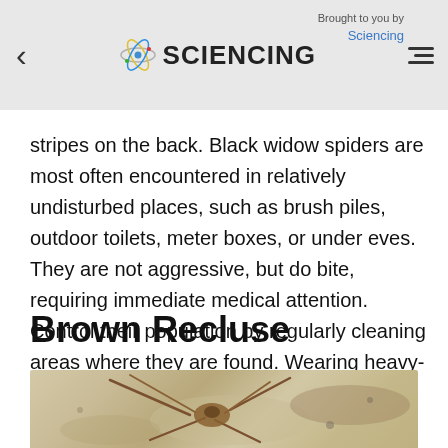SCIENCING | Brought to you by Sciencing
stripes on the back. Black widow spiders are most often encountered in relatively undisturbed places, such as brush piles, outdoor toilets, meter boxes, or under eves. They are not aggressive, but do bite, requiring immediate medical attention. Control their population by regularly cleaning areas where they are found. Wearing heavy-duty gloves to do that is advised.
Brown Recluse
[Figure (photo): Close-up photo of a brown recluse spider on a sandy/concrete surface, showing its legs and body]